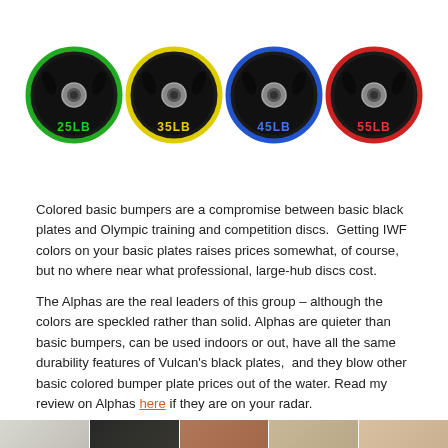[Figure (photo): Four black Olympic bumper plates in different weights with colored rings: 25LB (green ring), 35LB (yellow ring), 45LB (blue ring), 55LB (red ring). Each plate has a center hole and grip slots.]
Colored basic bumpers are a compromise between basic black plates and Olympic training and competition discs.  Getting IWF colors on your basic plates raises prices somewhat, of course, but no where near what professional, large-hub discs cost.
The Alphas are the real leaders of this group – although the colors are speckled rather than solid. Alphas are quieter than basic bumpers, can be used indoors or out, have all the same durability features of Vulcan's black plates,  and they blow other basic colored bumper plate prices out of the water. Read my review on Alphas here if they are on your radar.
[Figure (photo): Partial bottom strip showing multiple images of weightlifting equipment and gym scenes.]